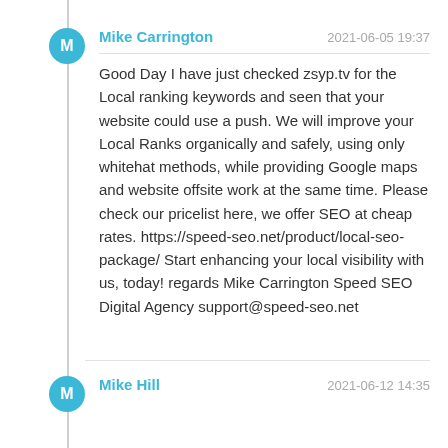Mike Carrington
2021-06-05 19:37
Good Day I have just checked zsyp.tv for the Local ranking keywords and seen that your website could use a push. We will improve your Local Ranks organically and safely, using only whitehat methods, while providing Google maps and website offsite work at the same time. Please check our pricelist here, we offer SEO at cheap rates. https://speed-seo.net/product/local-seo-package/ Start enhancing your local visibility with us, today! regards Mike Carrington Speed SEO Digital Agency support@speed-seo.net
Mike Hill
2021-06-12 14:35